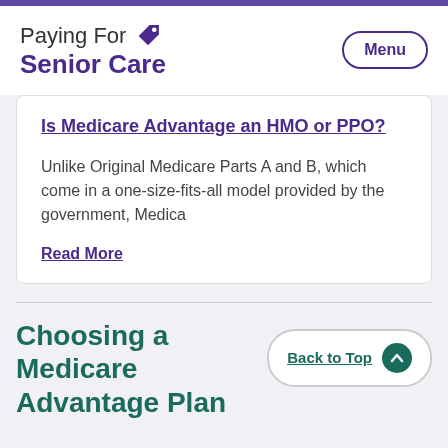Paying For Senior Care
Is Medicare Advantage an HMO or PPO?
Unlike Original Medicare Parts A and B, which come in a one-size-fits-all model provided by the government, Medica
Read More
Choosing a Medicare Advantage Plan